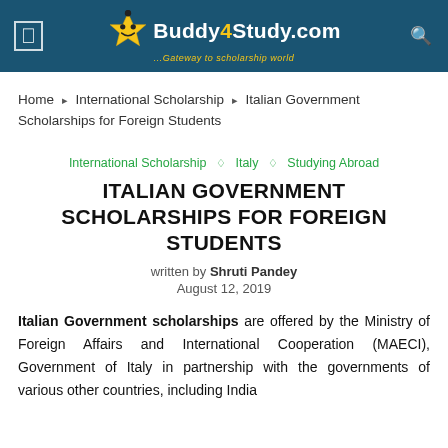Buddy4Study.com — Gateway to scholarship world
Home > International Scholarship > Italian Government Scholarships for Foreign Students
International Scholarship ◇ Italy ◇ Studying Abroad
ITALIAN GOVERNMENT SCHOLARSHIPS FOR FOREIGN STUDENTS
written by Shruti Pandey
August 12, 2019
Italian Government scholarships are offered by the Ministry of Foreign Affairs and International Cooperation (MAECI), Government of Italy in partnership with the governments of various other countries, including India